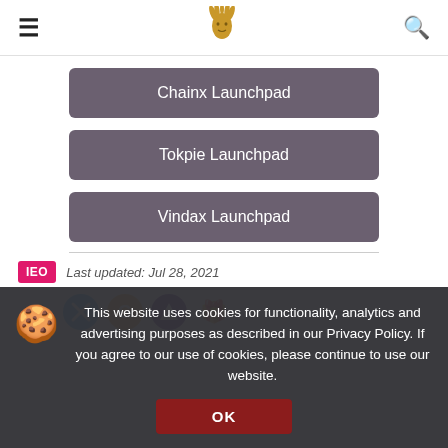≡  [logo]  🔍
Chainx Launchpad
Tokpie Launchpad
Vindax Launchpad
IEO   Last updated: Jul 28, 2021
[Figure (other): Row of cryptocurrency platform icons: rotating arrow icon, X icon (blue), rotating G icon (gold), V icon (purple), gift box icon (purple)]
This website uses cookies for functionality, analytics and advertising purposes as described in our Privacy Policy. If you agree to our use of cookies, please continue to use our website.
OK